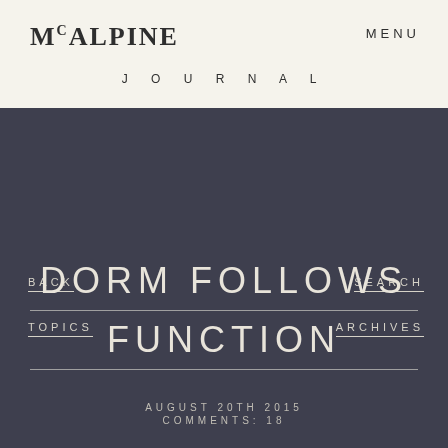MCALPINE
MENU
JOURNAL
BACK
SEARCH
TOPICS
ARCHIVES
DORM FOLLOWS FUNCTION
AUGUST 20TH 2015
COMMENTS: 18